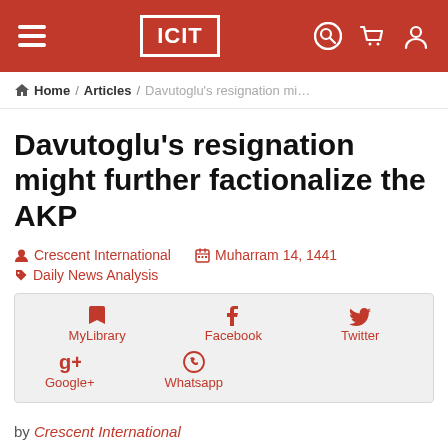ICIT
Home / Articles / Davutoglu’s resignation mi…
Davutoglu’s resignation might further factionalize the AKP
Crescent International   Muharram 14, 1441
Daily News Analysis
MyLibrary  Facebook  Twitter  Google+  Whatsapp
by Crescent International